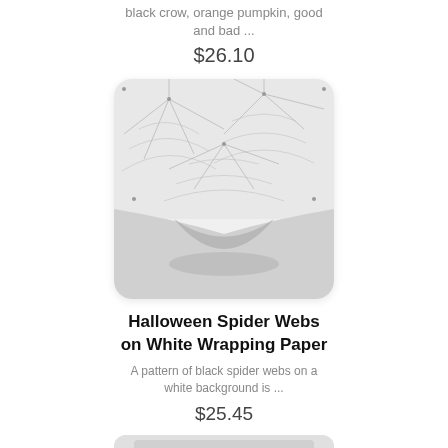black crow, orange pumpkin, good and bad ...
$26.10
[Figure (photo): Product photo of Halloween Spider Webs on White Wrapping Paper — rolled paper with spider web pattern on white background, showing the curled edge of the roll]
Halloween Spider Webs on White Wrapping Paper
A pattern of black spider webs on a white background is ...
$25.45